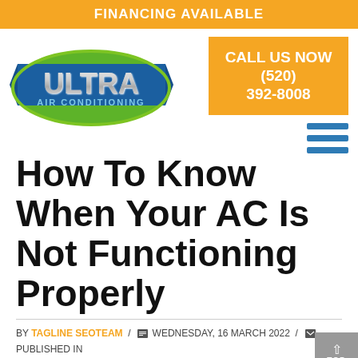FINANCING AVAILABLE
[Figure (logo): Ultra Air Conditioning logo — blue ribbon banner with silver metallic ULTRA text, green oval surround, AIR CONDITIONING text below]
CALL US NOW (520) 392-8008
How To Know When Your AC Is Not Functioning Properly
BY TAGLINE SEOTEAM / WEDNESDAY, 16 MARCH 2022 / PUBLISHED IN UNCATEGORIZED